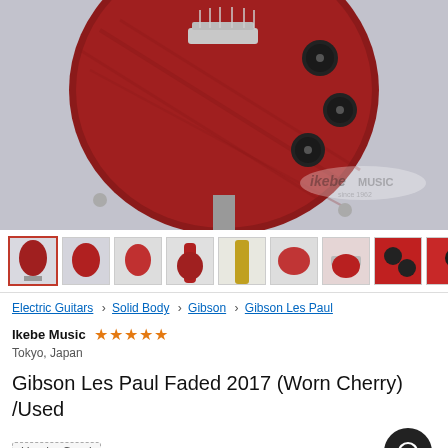[Figure (photo): Close-up photo of a red Gibson Les Paul electric guitar body showing the top with knobs and bridge, on a grey background. Ikebe Music watermark visible.]
[Figure (photo): Row of 9 thumbnail images showing different views of the red Gibson Les Paul guitar.]
Electric Guitars > Solid Body > Gibson > Gibson Les Paul
Ikebe Music ★★★★★
Tokyo, Japan
Gibson Les Paul Faded 2017 (Worn Cherry) /Used
Used – Good
$731.71